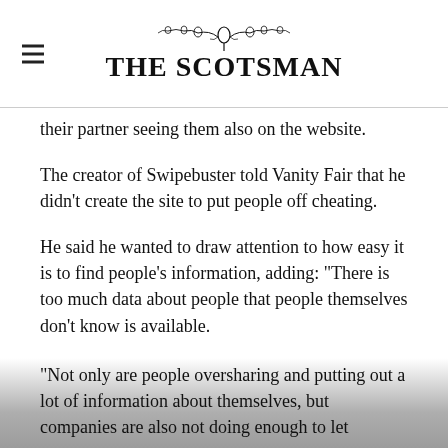THE SCOTSMAN
their partner seeing them also on the website.
The creator of Swipebuster told Vanity Fair that he didn't create the site to put people off cheating.
He said he wanted to draw attention to how easy it is to find people's information, adding: “There is too much data about people that people themselves don’t know is available.
“Not only are people oversharing and putting out a lot of information about themselves, but companies are also not doing enough to let